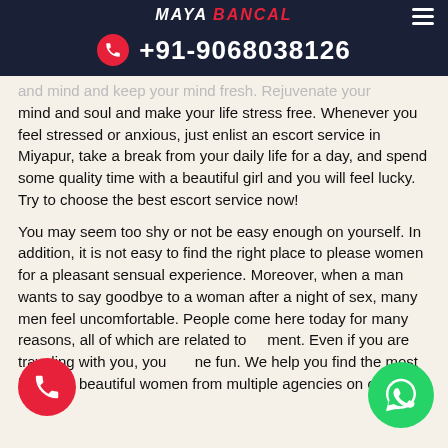MAYA BANCAL | +91-9068038126
and mind and keep your mind fresh. Rejuvenate your mind and soul and make your life stress free. Whenever you feel stressed or anxious, just enlist an escort service in Miyapur, take a break from your daily life for a day, and spend some quality time with a beautiful girl and you will feel lucky. Try to choose the best escort service now!
You may seem too shy or not be easy enough on yourself. In addition, it is not easy to find the right place to please women for a pleasant sensual experience. Moreover, when a man wants to say goodbye to a woman after a night of sex, many men feel uncomfortable. People come here today for many reasons, all of which are related to ment. Even if you are traveling with you, you ne fun. We help you find the most beautifu beautiful women from multiple agencies on one site.